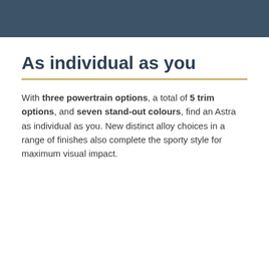As individual as you
With three powertrain options, a total of 5 trim options, and seven stand-out colours, find an Astra as individual as you. New distinct alloy choices in a range of finishes also complete the sporty style for maximum visual impact.